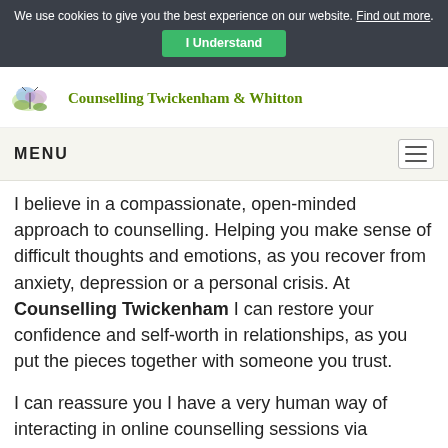We use cookies to give you the best experience on our website. Find out more. I Understand
[Figure (logo): Counselling Twickenham & Whitton logo with butterfly and leaf illustration]
MENU
I believe in a compassionate, open-minded approach to counselling. Helping you make sense of difficult thoughts and emotions, as you recover from anxiety, depression or a personal crisis. At Counselling Twickenham I can restore your confidence and self-worth in relationships, as you put the pieces together with someone you trust.
I can reassure you I have a very human way of interacting in online counselling sessions via